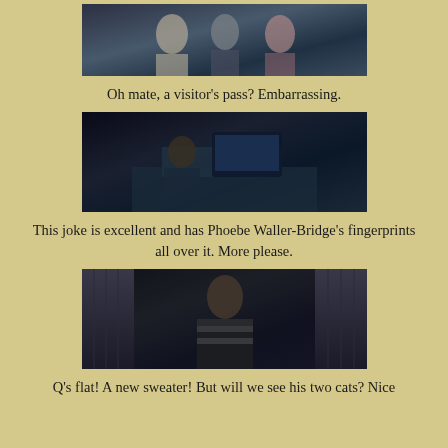[Figure (photo): Film still showing three people standing together in what appears to be an indoor setting]
Oh mate, a visitor's pass? Embarrassing.
[Figure (photo): Film still showing a person in uniform seated at a reception desk with a computer monitor]
This joke is excellent and has Phoebe Waller-Bridge's fingerprints all over it. More please.
[Figure (photo): Film still showing a person in a striped sweater standing in a doorway or lift]
Q's flat! A new sweater! But will we see his two cats? Nice